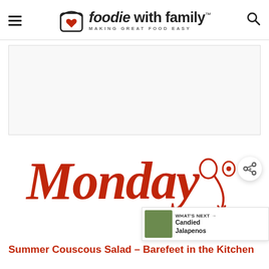foodie with family™ — MAKING GREAT FOOD EASY
[Figure (other): Advertisement placeholder area — white/light gray box]
[Figure (illustration): Monday logo in red cursive script with decorative spoon/utensil arrow graphic]
Summer Couscous Salad – Barefeet in the Kitchen